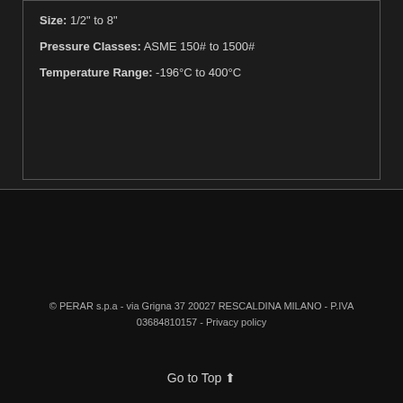Size: 1/2" to 8"
Pressure Classes: ASME 150# to 1500#
Temperature Range: -196°C to 400°C
© PERAR s.p.a - via Grigna 37 20027 RESCALDINA MILANO - P.IVA 03684810157 - Privacy policy
Go to Top ⬆